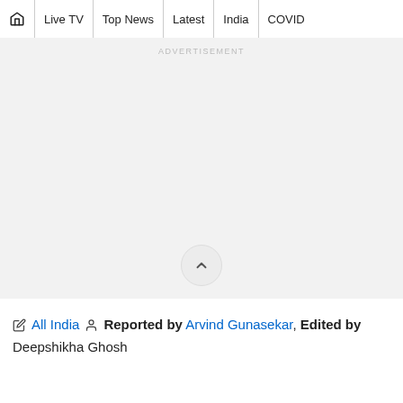🏠 | Live TV | Top News | Latest | India | COVID
[Figure (other): Advertisement placeholder area — large light gray rectangle with 'ADVERTISEMENT' label at top center, and a scroll-up chevron button near the bottom center]
✎ All India  👤 Reported by Arvind Gunasekar, Edited by Deepshikha Ghosh